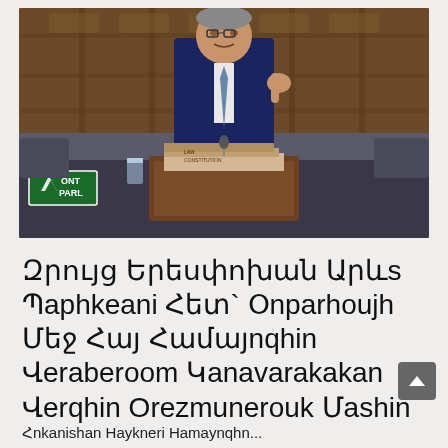[Figure (photo): A man in a dark blue suit speaking at a parliament podium with books in front of him, in what appears to be an Armenian parliamentary chamber with wooden paneling. ONT PARL logo visible in lower left of the video frame.]
Զրույց Երեսփոխան Արևs Պaphkeani Հետ` Օnparhoujh Մեջ Հայ Համայnqhin Վeraberoom Կanavarakakan Վerqhin Orezmunerouk Մashin
(partial Armenian text at bottom, cut off)